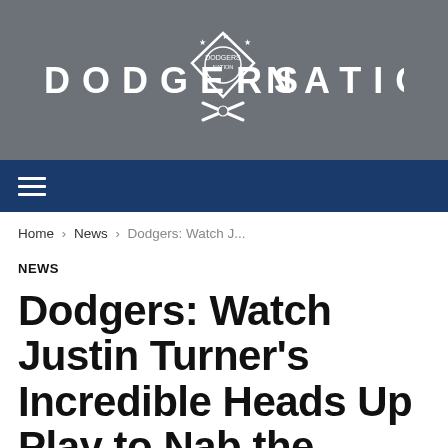[Figure (logo): Dodgers Nation logo with text DODGERS NATION in white capital letters and a baseball diamond emblem in the center, on a gray background]
≡ (navigation menu icon on dark blue bar)
Home › News › Dodgers: Watch J...
NEWS
Dodgers: Watch Justin Turner's Incredible Heads Up Play to Nab the R...